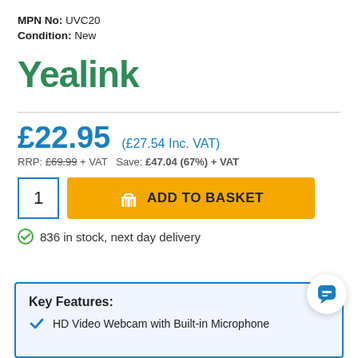MPN No: UVC20
Condition: New
[Figure (logo): Yealink brand logo in green text]
£22.95  (£27.54 Inc. VAT)
RRP: £69.99 + VAT  Save: £47.04 (67%) + VAT
1  ADD TO BASKET
836 in stock, next day delivery
Key Features:
HD Video Webcam with Built-in Microphone